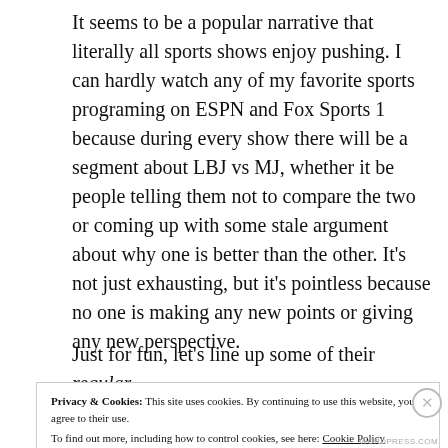It seems to be a popular narrative that literally all sports shows enjoy pushing. I can hardly watch any of my favorite sports programing on ESPN and Fox Sports 1 because during every show there will be a segment about LBJ vs MJ, whether it be people telling them not to compare the two or coming up with some stale argument about why one is better than the other. It's not just exhausting, but it's pointless because no one is making any new points or giving any new perspective.
Just for fun, let's line up some of their regular
Privacy & Cookies: This site uses cookies. By continuing to use this website, you agree to their use.
To find out more, including how to control cookies, see here: Cookie Policy
Close and accept
WORDPRESS.COM